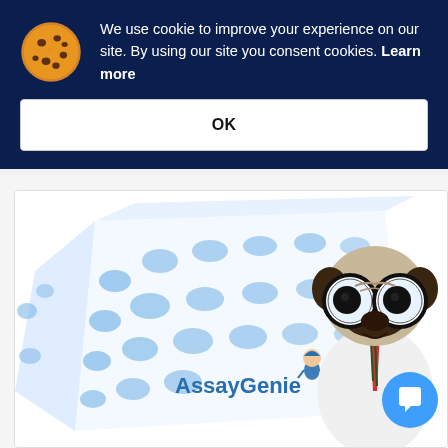We use cookie to improve your experience on our site. By using our site you consent cookies. Learn more
OK
[Figure (photo): AssayGenie product box with blue polka dots and a pug dog wearing glasses and a tie, positioned next to the box. The box has the AssayGenie logo and mascot on it.]